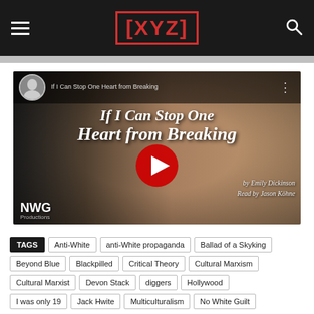[XYZ]
[Figure (screenshot): YouTube video thumbnail: 'If I Can Stop One Heart from Breaking' by Emily Dickinson, Read by Jason Köhne. Shows baby hands and NWG Productions logo. Red YouTube play button in center.]
TAGS  Anti-White  anti-White propaganda  Ballad of a Skyking  Beyond Blue  Blackpilled  Critical Theory  Cultural Marxism  Cultural Marxist  Devon Stack  diggers  Hollywood  I was only 19  Jack Hwite  Multiculturalism  No White Guilt